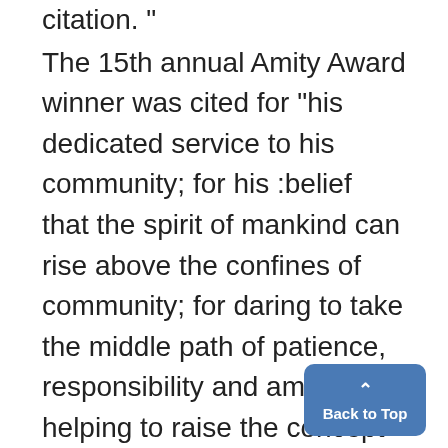citation. " The 15th annual Amity Award winner was cited for "his dedicated service to his community; for his :belief that the spirit of mankind can rise above the confines of community; for daring to take the middle path of patience, responsibility and amity; for helping to raise the concept of amity as a standard before our eyes." The inscription of the citation to Mrs. Krolik stated: